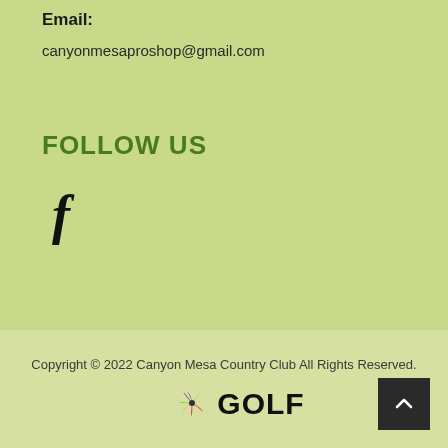Email: canyonmesaproshop@gmail.com
FOLLOW US
[Figure (logo): Facebook 'f' icon in bold black italic style]
Copyright © 2022 Canyon Mesa Country Club All Rights Reserved.
[Figure (logo): NBC peacock feather logo followed by GOLF text in bold black]